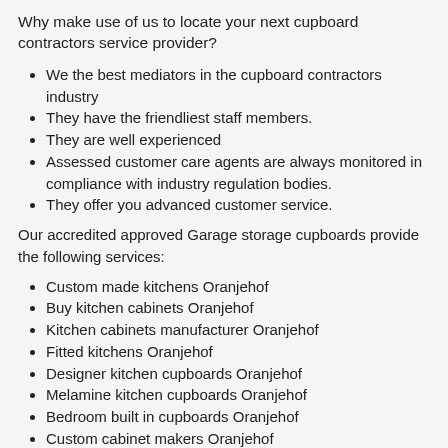Why make use of us to locate your next cupboard contractors service provider?
We the best mediators in the cupboard contractors industry
They have the friendliest staff members.
They are well experienced
Assessed customer care agents are always monitored in compliance with industry regulation bodies.
They offer you advanced customer service.
Our accredited approved Garage storage cupboards provide the following services:
Custom made kitchens Oranjehof
Buy kitchen cabinets Oranjehof
Kitchen cabinets manufacturer Oranjehof
Fitted kitchens Oranjehof
Designer kitchen cupboards Oranjehof
Melamine kitchen cupboards Oranjehof
Bedroom built in cupboards Oranjehof
Custom cabinet makers Oranjehof
Wardrobes Oranjehof
Ready made built in cupboards Oranjehof
Wood cabinets Oranjehof
Cupboard warehouse Oranjehof
Kitchen cabinetry Oranjehof
Build in cupboards Oranjehof
Modern kitchen wall units Oranjehof